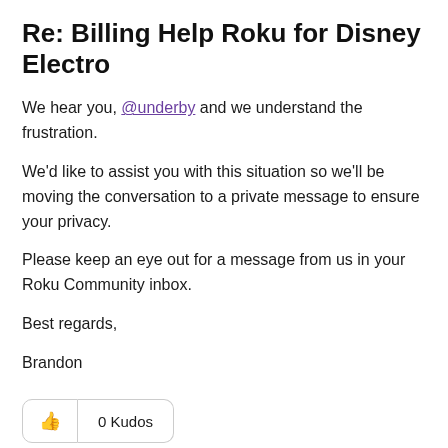Re: Billing Help Roku for Disney Electro
We hear you, @underby and we understand the frustration.
We'd like to assist you with this situation so we'll be moving the conversation to a private message to ensure your privacy.
Please keep an eye out for a message from us in your Roku Community inbox.
Best regards,
Brandon